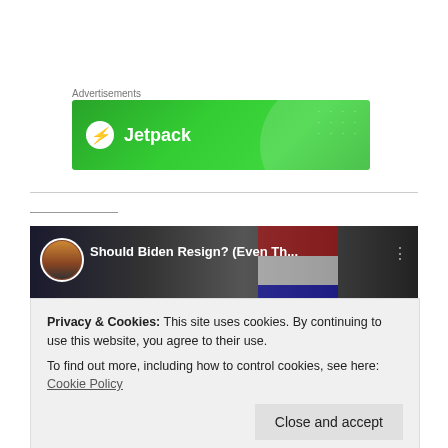Advertisements
[Figure (logo): Jetpack advertisement banner with green gradient background, Jetpack logo (lightning bolt in circle) and text 'Jetpack']
[Figure (screenshot): YouTube video thumbnail showing 'Should Biden Resign? (Even Th...' with avatar of a man with long hair]
Privacy & Cookies: This site uses cookies. By continuing to use this website, you agree to their use.
To find out more, including how to control cookies, see here: Cookie Policy
Close and accept